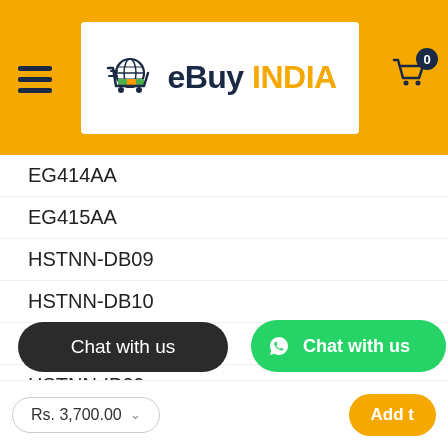[Figure (logo): eBuy INDIA logo with shopping cart icon on white background inside an orange header bar]
EG414AA
EG415AA
HSTNN-DB09
HSTNN-DB10
HSTNN-DB17
HSTNN-IB09
HSTNN-IB10
HSTNN-IB17
HSTNN-IB17
Chat with us
Rs. 3,700.00
Add t
Chat with us